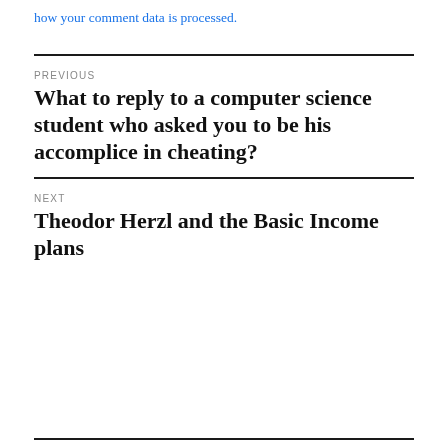how your comment data is processed.
PREVIOUS
What to reply to a computer science student who asked you to be his accomplice in cheating?
NEXT
Theodor Herzl and the Basic Income plans